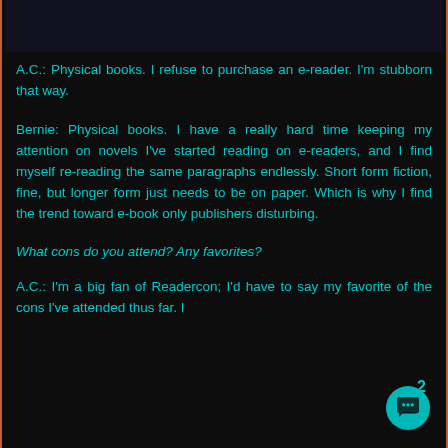[Figure (photo): Dark header image, appears to be a dark photograph or background image at the top of the page]
A.C.: Physical books. I refuse to purchase an e-reader. I'm stubborn that way.
Bernie: Physical books. I have a really hard time keeping my attention on novels I've started reading on e-readers, and I find myself re-reading the same paragraphs endlessly. Short form fiction, fine, but longer form just needs to be on paper. Which is why I find the trend toward e-book only publishers disturbing.
What cons do you attend? Any favorites?
A.C.: I'm a big fan of Readercon; I'd have to say my favorite of the cons I've attended thus far. I
2